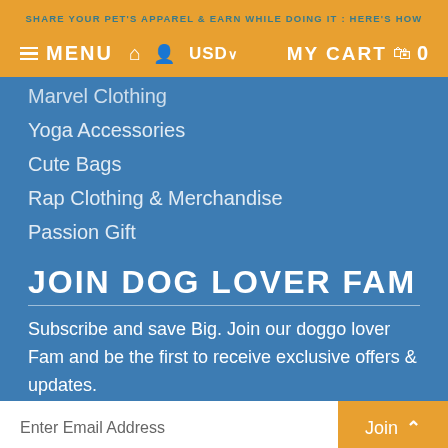SHARE YOUR PET'S APPAREL & EARN WHILE DOING IT : HERE'S HOW
≡ MENU 🏠 👤 USD∨  MY CART 🛍 0
Marvel Clothing
Yoga Accessories
Cute Bags
Rap Clothing & Merchandise
Passion Gift
JOIN DOG LOVER FAM
Subscribe and save Big. Join our doggo lover Fam and be the first to receive exclusive offers & updates.
Enter Email Address  Join